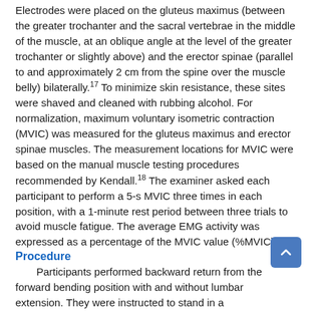Electrodes were placed on the gluteus maximus (between the greater trochanter and the sacral vertebrae in the middle of the muscle, at an oblique angle at the level of the greater trochanter or slightly above) and the erector spinae (parallel to and approximately 2 cm from the spine over the muscle belly) bilaterally.17 To minimize skin resistance, these sites were shaved and cleaned with rubbing alcohol. For normalization, maximum voluntary isometric contraction (MVIC) was measured for the gluteus maximus and erector spinae muscles. The measurement locations for MVIC were based on the manual muscle testing procedures recommended by Kendall.18 The examiner asked each participant to perform a 5-s MVIC three times in each position, with a 1-minute rest period between three trials to avoid muscle fatigue. The average EMG activity was expressed as a percentage of the MVIC value (%MVIC).
Procedure
Participants performed backward return from the forward bending position with and without lumbar extension. They were instructed to stand in a forward-bending posture, via hip flexion without lumbar movement until the hip joint was flexed by 30 degrees (without bending the knee). In the first condition (without